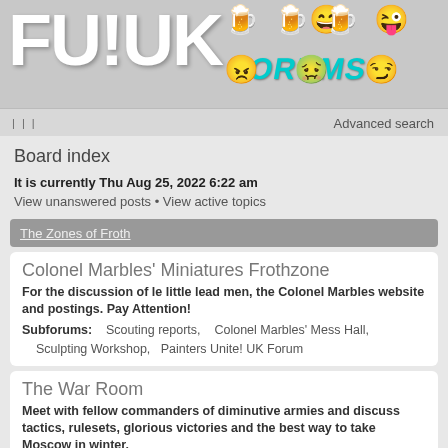[Figure (logo): FU!UK Forums logo with pixel art emoji icons and teal FORUMS text]
Advanced search
Board index
It is currently Thu Aug 25, 2022 6:22 am
View unanswered posts • View active topics
The Zones of Froth
Colonel Marbles' Miniatures Frothzone
For the discussion of le little lead men, the Colonel Marbles website and postings. Pay Attention!
Subforums: Scouting reports, Colonel Marbles' Mess Hall, Sculpting Workshop, Painters Unite! UK Forum
The War Room
Meet with fellow commanders of diminutive armies and discuss tactics, rulesets, glorious victories and the best way to take Moscow in winter.
Subforums: Fantasy Warriors Zone, Wargames Misc.
The Gamers' Rest